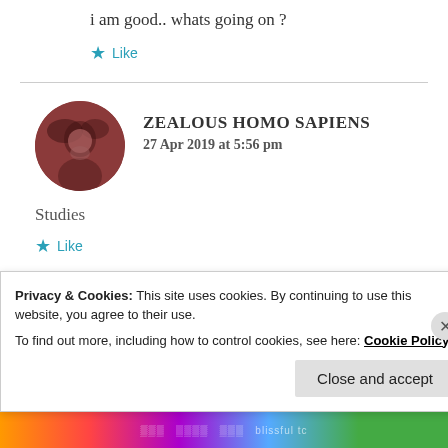i am good.. whats going on ?
★ Like
ZEALOUS HOMO SAPIENS
27 Apr 2019 at 5:56 pm
Studies
★ Like
Privacy & Cookies: This site uses cookies. By continuing to use this website, you agree to their use.
To find out more, including how to control cookies, see here: Cookie Policy
Close and accept